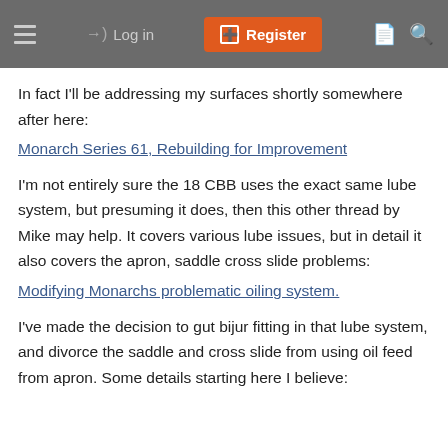Log in  Register
In fact I'll be addressing my surfaces shortly somewhere after here:
Monarch Series 61, Rebuilding for Improvement
I'm not entirely sure the 18 CBB uses the exact same lube system, but presuming it does, then this other thread by Mike may help. It covers various lube issues, but in detail it also covers the apron, saddle cross slide problems:
Modifying Monarchs problematic oiling system.
I've made the decision to gut bijur fitting in that lube system, and divorce the saddle and cross slide from using oil feed from apron. Some details starting here I believe: